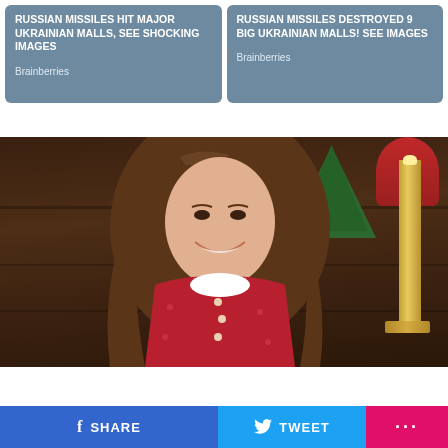[Figure (screenshot): Ad card: RUSSIAN MISSILES HIT MAJOR UKRAINIAN MALLS, SEE SHOCKING IMAGES - Brainberries]
[Figure (screenshot): Ad card: RUSSIAN MISSILES DESTROYED 9 BIG UKRAINIAN MALLS! SEE IMAGES - Brainberries]
[Figure (photo): Photo of a woman with long brown wavy hair wearing a red dress with white collar, smiling, seated in a dark wood-paneled room with Christmas tree and candle in background]
f SHARE   TWEET   ...